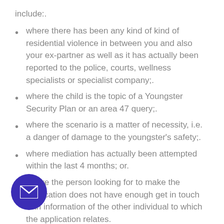include:.
where there has been any kind of kind of residential violence in between you and also your ex-partner as well as it has actually been reported to the police, courts, wellness specialists or specialist company;.
where the child is the topic of a Youngster Security Plan or an area 47 query;.
where the scenario is a matter of necessity, i.e. a danger of damage to the youngster's safety;.
where mediation has actually been attempted within the last 4 months; or.
where the person looking for to make the application does not have enough get in touch with information of the other individual to which the application relates.